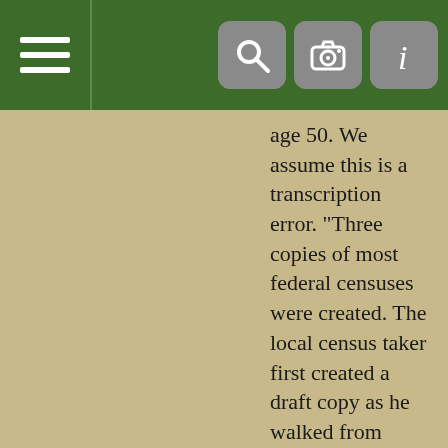[Figure (screenshot): Green navigation header bar with hamburger menu icon on the left and three icon buttons (search, camera, info) on the right]
age 50. We assume this is a transcription error. "Three copies of most federal censuses were created. The local census taker first created a draft copy as he walked from house to house to question the residents. He later copied by hand a second draft for the state, and a third copy for the federal government. Copying errors often resulted in slight differences between the various